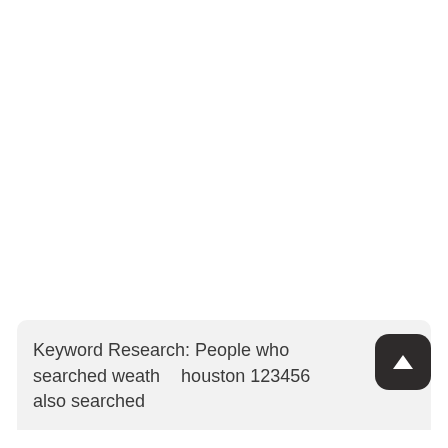Keyword Research: People who searched weather houston 123456 also searched